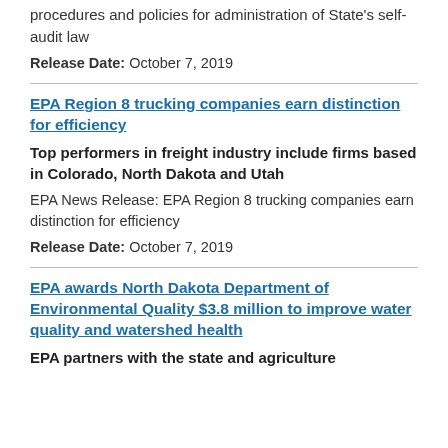EPA News Release: EPA finds North Dakota DEQ establish procedures and policies for administration of State's self-audit law
Release Date: October 7, 2019
EPA Region 8 trucking companies earn distinction for efficiency
Top performers in freight industry include firms based in Colorado, North Dakota and Utah
EPA News Release: EPA Region 8 trucking companies earn distinction for efficiency
Release Date: October 7, 2019
EPA awards North Dakota Department of Environmental Quality $3.8 million to improve water quality and watershed health
EPA partners with the state and agriculture